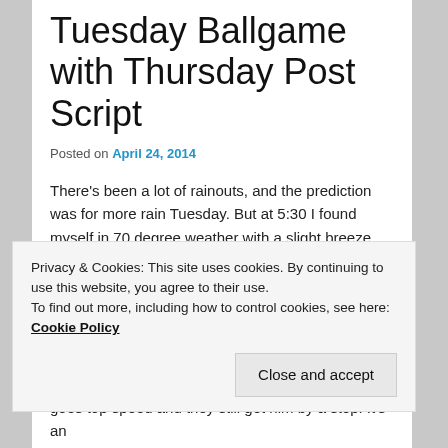Tuesday Ballgame with Thursday Post Script
Posted on April 24, 2014
There's been a lot of rainouts, and the prediction was for more rain Tuesday. But at 5:30 I found myself in 70 degree weather with a slight breeze. Jack's game was on. Shani and I sat on the top row of the bleachers so we could lean back against the metal bars. Alex joined the swarm of kids that collectively ran back and forth around and in front of the bleachers.
Privacy & Cookies: This site uses cookies. By continuing to use this website, you agree to their use.
To find out more, including how to control cookies, see here: Cookie Policy
Close and accept
goes top speed and they still get him by a step. It's an